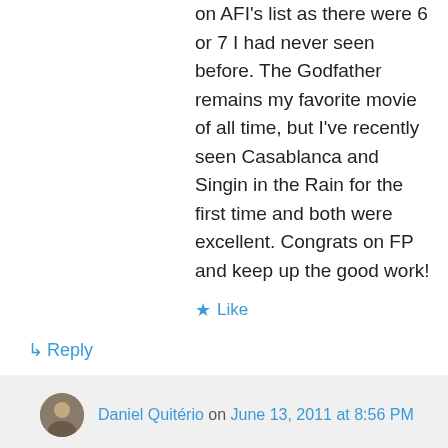on AFI's list as there were 6 or 7 I had never seen before. The Godfather remains my favorite movie of all time, but I've recently seen Casablanca and Singin in the Rain for the first time and both were excellent. Congrats on FP and keep up the good work!
★ Like
↵ Reply
Daniel Quitério on June 13, 2011 at 8:56 PM
Thanks! Those are all terrific films. Singin' in the Rain is one of the best musicals ever made.
★ Like